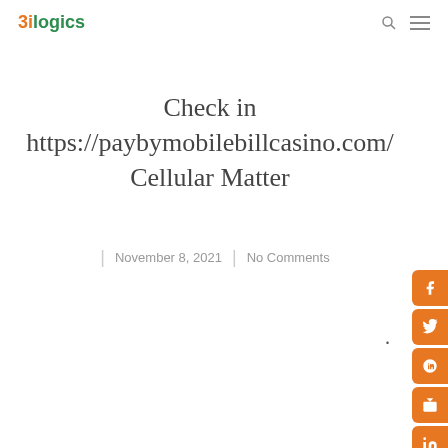3ilogics
Check in https://paybymobilebillcasino.com/ Cellular Matter
November 8, 2021 | No Comments
Blogs
As to the reasons Explore Cellular phone Statement Sites?